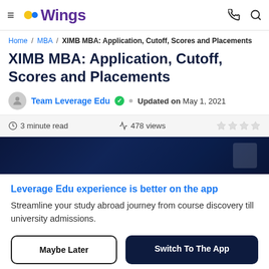Wings — navigation bar with hamburger menu, logo, phone and search icons
Home / MBA / XIMB MBA: Application, Cutoff, Scores and Placements
XIMB MBA: Application, Cutoff, Scores and Placements
Team Leverage Edu ✓ • Updated on May 1, 2021
3 minute read   478 views   ★★★★
[Figure (photo): Dark navy blue banner image for XIMB MBA article]
Leverage Edu experience is better on the app
Streamline your study abroad journey from course discovery till university admissions.
Maybe Later | Switch To The App